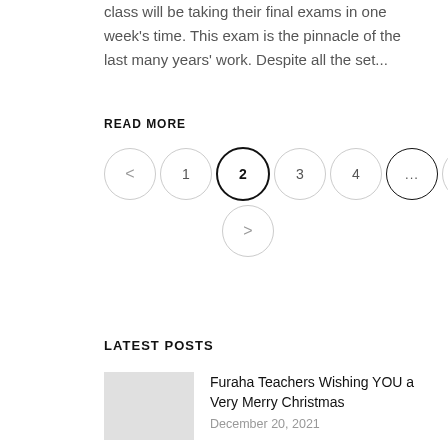class will be taking their final exams in one week's time. This exam is the pinnacle of the last many years' work. Despite all the set...
READ MORE
[Figure (other): Pagination control with circles: left arrow, 1, 2 (active/bold), 3, 4, ..., 7, and a right arrow below]
LATEST POSTS
Furaha Teachers Wishing YOU a Very Merry Christmas
December 20, 2021